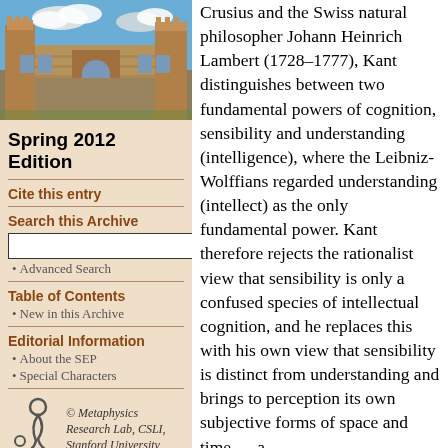[Figure (photo): University building photograph — Gothic/sandstone architecture with towers, courtyard, and blue sky with clouds]
Spring 2012 Edition
Cite this entry
Search this Archive
Advanced Search
Table of Contents
New in this Archive
Editorial Information
About the SEP
Special Characters
[Figure (logo): Metaphysics Research Lab logo — stylized figure/symbol]
© Metaphysics Research Lab, CSLI, Stanford University
Crusius and the Swiss natural philosopher Johann Heinrich Lambert (1728–1777), Kant distinguishes between two fundamental powers of cognition, sensibility and understanding (intelligence), where the Leibniz-Wolffians regarded understanding (intellect) as the only fundamental power. Kant therefore rejects the rationalist view that sensibility is only a confused species of intellectual cognition, and he replaces this with his own view that sensibility is distinct from understanding and brings to perception its own subjective forms of space and time — a